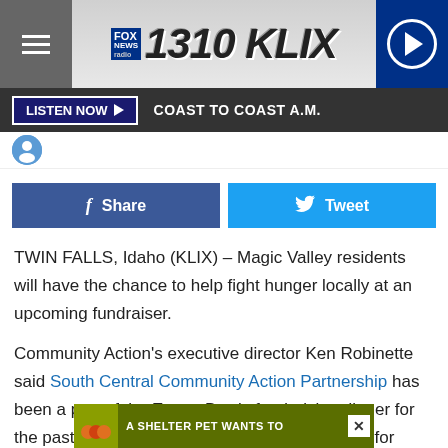Fox News Radio 1310 KLIX
LISTEN NOW ▶   COAST TO COAST A.M.
[Figure (screenshot): Avatar/profile image strip]
Share   Tweet
TWIN FALLS, Idaho (KLIX) – Magic Valley residents will have the chance to help fight hunger locally at an upcoming fundraiser.
Community Action's executive director Ken Robinette said South Central Community Action Partnership has been a part of the Empty Bowls fundraising dinner for the past decade, but it's been hosting the event for about the past six years.
[Figure (screenshot): Advertisement banner at bottom: A shelter pet wants to...]